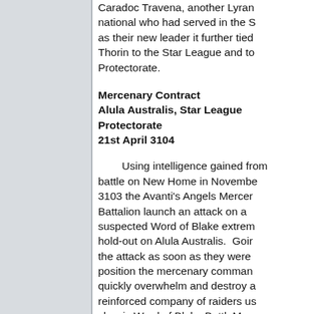Caradoc Travena, another Lyran national who had served in the S as their new leader it further tied Thorin to the Star League and to Protectorate.
Mercenary Contract
Alula Australis, Star League Protectorate
21st April 3104
Using intelligence gained from battle on New Home in November 3103 the Avanti's Angels Mercenary Battalion launch an attack on a suspected Word of Blake extremist hold-out on Alula Australis. Going the attack as soon as they were in position the mercenary commander quickly overwhelm and destroy a reinforced company of raiders using classic Word of Blake BattleMechs and Battle Armour. Over the course